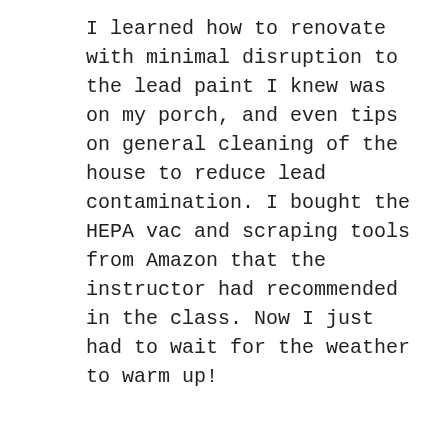I learned how to renovate with minimal disruption to the lead paint I knew was on my porch, and even tips on general cleaning of the house to reduce lead contamination. I bought the HEPA vac and scraping tools from Amazon that the instructor had recommended in the class. Now I just had to wait for the weather to warm up!